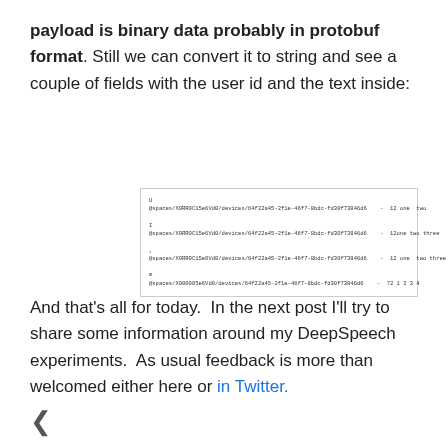payload is binary data probably in protobuf format. Still we can convert it to string and see a couple of fields with the user id and the text inside:
[Figure (screenshot): Screenshot of terminal/console output showing protobuf data with device paths and text fields like 'one two', 'one two three', 'one two three four', '1 2 3 4']
And that's all for today.  In the next post I'll try to share some information around my DeepSpeech experiments.  As usual feedback is more than welcomed either here or in Twitter.